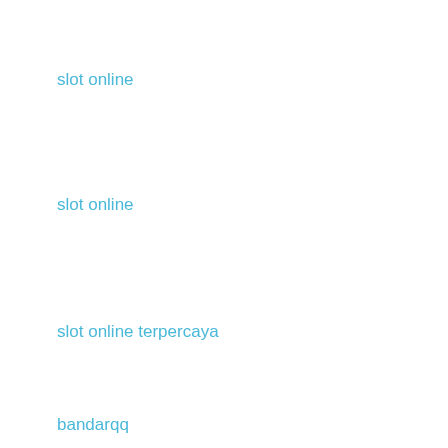slot online
slot online
slot online terpercaya
bandarqq